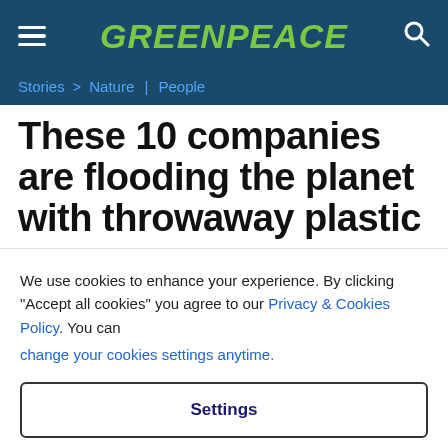GREENPEACE
Stories > Nature | People
These 10 companies are flooding the planet with throwaway plastic
We use cookies to enhance your experience. By clicking "Accept all cookies" you agree to our Privacy & Cookies Policy. You can change your cookies settings anytime.
Settings
Accept all cookies